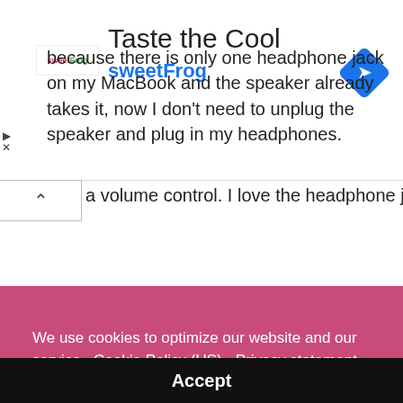[Figure (logo): sweetFrog advertisement banner with logo, 'Taste the Cool' title, 'sweetFrog' brand name in blue, and a blue diamond navigation icon]
d a volume control. I love the headphone jack because there is only one headphone jack on my MacBook and the speaker already takes it, now I don't need to unplug the speaker and plug in my headphones.
[Figure (photo): Photo of a device/product, with 'techwalls' watermark in upper right]
We use cookies to optimize our website and our service.  Cookie Policy (US)  -  Privacy statement
Accept